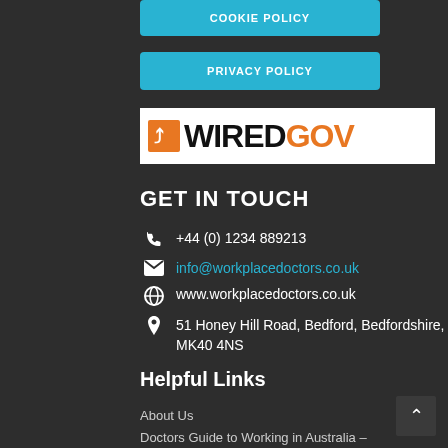COOKIE POLICY
PRIVACY POLICY
[Figure (logo): WiredGov logo with orange arrow icon and black/orange text on white background]
GET IN TOUCH
+44 (0) 1234 889213
info@workplacedoctors.co.uk
www.workplacedoctors.co.uk
51 Honey Hill Road, Bedford, Bedfordshire, MK40 4NS
Helpful Links
About Us
Doctors Guide to Working in Australia –